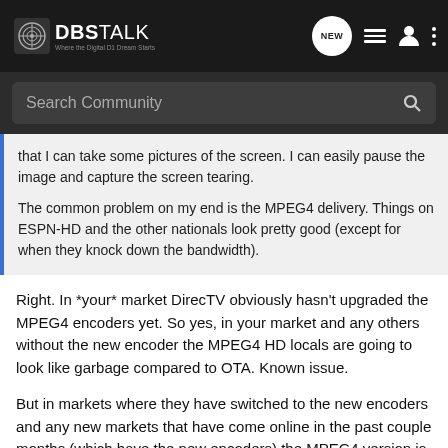DBSTALK — Where the Digital D1 Dream Starts
Search Community
that I can take some pictures of the screen. I can easily pause the image and capture the screen tearing.

The common problem on my end is the MPEG4 delivery. Things on ESPN-HD and the other nationals look pretty good (except for when they knock down the bandwidth).
Right. In *your* market DirecTV obviously hasn't upgraded the MPEG4 encoders yet. So yes, in your market and any others without the new encoder the MPEG4 HD locals are going to look like garbage compared to OTA. Known issue.
But in markets where they have switched to the new encoders and any new markets that have come online in the past couple months (which have the new encoders) the MPEG4 version is virtually the same as OTA to the point most people won't notice